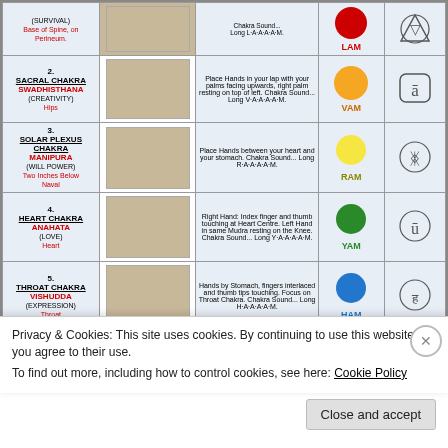| #/Name | Photo | Description | Color/Sound | Symbol |
| --- | --- | --- | --- | --- |
| 1. SACRAL CHAKRA SWADHISTHANA (CREATIVITY) Hips | [photo] | Place Hands in your lap with your palms facing upwards, right palm resting on top of left. Chakra Sound... Long V-A-A-A-A-M. | VAM (orange) | [symbol] |
| 2. SOLAR PLEXUS CHAKRA MANIPURA (WILL POWER) Two Inches Below Naval | [photo] | Place Hands between your heart and your stomach. Chakra Sound... Long R-A-A-A-A-M. | RAM (yellow) | [symbol] |
| 3. HEART CHAKRA ANAHATA (LOVE) Heart | [photo] | Right Hand: Index finger and thumb touching at Heart Centre. Left Hand in same Mudra resting on the Knee. Chakra Sound... Long Y-A-A-A-A-M. | YAM (green) | [symbol] |
| 4. THROAT CHAKRA VISHUDDA (EXPRESSION) Throat | [photo] | Hands by Stomach, fingers interlaced and thumb tips touching. Focus on Throat Chakra. Chakra Sound... Long H-A-A-A-A-M. | HAM (blue) | [symbol] |
Privacy & Cookies: This site uses cookies. By continuing to use this website, you agree to their use.
To find out more, including how to control cookies, see here: Cookie Policy
Close and accept